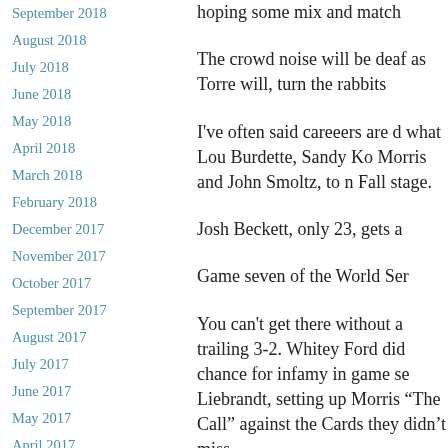September 2018
August 2018
July 2018
June 2018
May 2018
April 2018
March 2018
February 2018
December 2017
November 2017
October 2017
September 2017
August 2017
July 2017
June 2017
May 2017
April 2017
March 2017
hoping some mix and match
The crowd noise will be deaf as Torre will, turn the rabbits
I've often said careeers are d what Lou Burdette, Sandy Ko Morris and John Smoltz, to n Fall stage.
Josh Beckett, only 23, gets a
Game seven of the World Ser
You can't get there without a trailing 3-2. Whitey Ford did chance for infamy in game se Liebrandt, setting up Morris “The Call” against the Cards they didn’t miss.